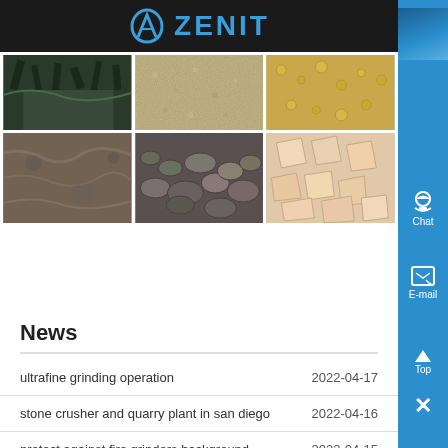ZENIT
[Figure (photo): Grid of 6 mineral/stone material photos: dark mineral crystals, sand/gravel, yellow granules, granite surface, river pebbles, pale pink rock chunks]
News
ultrafine grinding operation  2022-04-17
stone crusher and quarry plant in san diego  2022-04-16
protect against fire grinders background  2022-04-15
tefal sm 1552 sandwich toaster test  2022-04-14